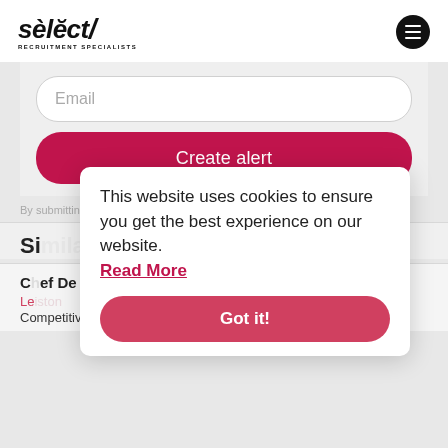select/ RECRUITMENT SPECIALISTS
Email
Create alert
By submitting your details you agree to our T&C's
Similar Jobs
Chef De Partie
Leiston
Competitive
This website uses cookies to ensure you get the best experience on our website. Read More
Got it!